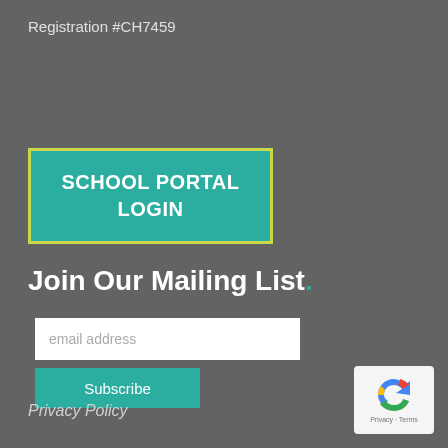Registration #CH7459
[Figure (screenshot): Teal button with yellow-green border reading SCHOOL PORTAL LOGIN]
Join Our Mailing List .
[Figure (screenshot): Email address input field placeholder]
[Figure (screenshot): Subscribe button in teal]
Privacy Policy
[Figure (logo): Google reCAPTCHA badge with Privacy and Terms links]